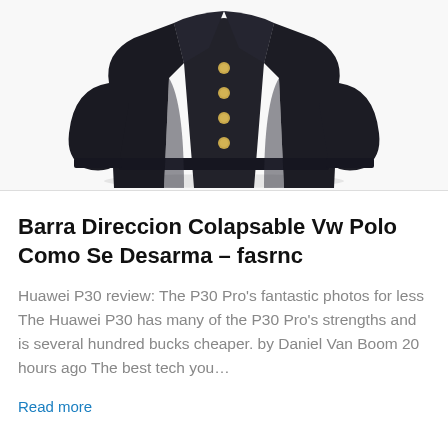[Figure (photo): A dark navy/black military-style jacket with gold buttons down the front, photographed on a white background.]
Barra Direccion Colapsable Vw Polo Como Se Desarma – fasrnc
Huawei P30 review: The P30 Pro's fantastic photos for less The Huawei P30 has many of the P30 Pro's strengths and is several hundred bucks cheaper. by Daniel Van Boom 20 hours ago The best tech you…
Read more